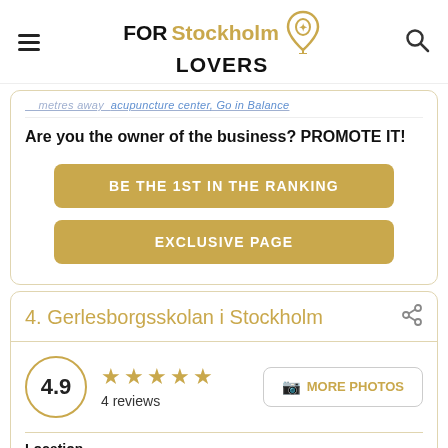FOR Stockholm LOVERS
metres away acupuncture center, Go in Balance
Are you the owner of the business? PROMOTE IT!
BE THE 1ST IN THE RANKING
EXCLUSIVE PAGE
4. Gerlesborgsskolan i Stockholm
4.9 — 4 reviews — MORE PHOTOS
Location